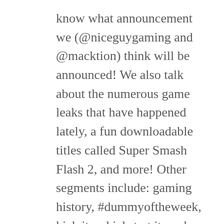know what announcement we (@niceguygaming and @macktion) think will be announced! We also talk about the numerous game leaks that have happened lately, a fun downloadable titles called Super Smash Flash 2, and more! Other segments include: gaming history, #dummyoftheweek, kick it or kickstart it, and more!
Join the conversation with us LIVE every Tuesday on twitch.tv/2nerdsinapod at 9pm CST.
Viewer questions/business inquiries can be sent to 2nerdsinapodcast@gmail.com